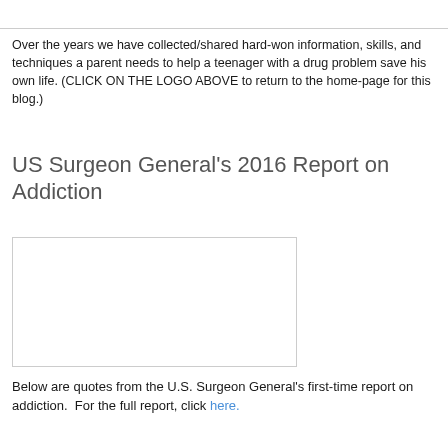Over the years we have collected/shared hard-won information, skills, and techniques a parent needs to help a teenager with a drug problem save his own life. (CLICK ON THE LOGO ABOVE to return to the home-page for this blog.)
US Surgeon General's 2016 Report on Addiction
[Figure (other): Empty white image box with light gray border, presumably a placeholder for an embedded image or video.]
Below are quotes from the U.S. Surgeon General's first-time report on addiction.  For the full report, click here.